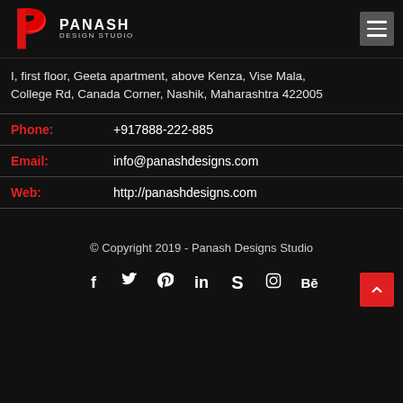[Figure (logo): Panash Design Studio logo — red stylized P shape with text PANASH Design Studio]
I, first floor, Geeta apartment, above Kenza, Vise Mala, College Rd, Canada Corner, Nashik, Maharashtra 422005
| Phone: | +917888-222-885 |
| Email: | info@panashdesigns.com |
| Web: | http://panashdesigns.com |
© Copyright 2019 - Panash Designs Studio
f  t  ⊕  in  S  ⊙  Bē